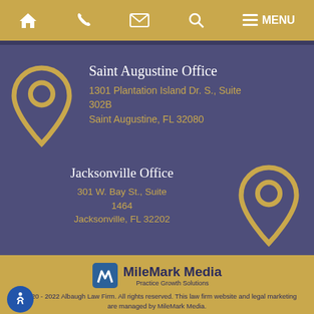Navigation bar with home, phone, email, search, and menu icons
Saint Augustine Office
1301 Plantation Island Dr. S., Suite 302B
Saint Augustine, FL 32080
Jacksonville Office
301 W. Bay St., Suite 1464
Jacksonville, FL 32202
[Figure (logo): MileMark Media Practice Growth Solutions logo]
© 2020 - 2022 Albaugh Law Firm. All rights reserved. This law firm website and legal marketing are managed by MileMark Media.